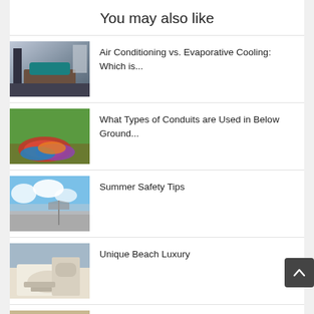You may also like
Air Conditioning vs. Evaporative Cooling: Which is...
What Types of Conduits are Used in Below Ground...
Summer Safety Tips
Unique Beach Luxury
Muskoka's Modern